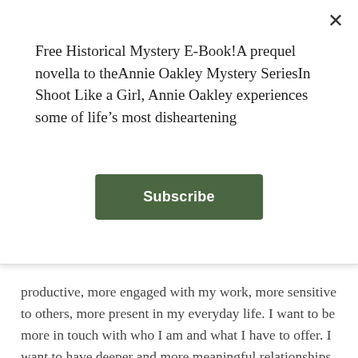Free Historical Mystery E-Book!A prequel novella to theAnnie Oakley Mystery SeriesIn Shoot Like a Girl, Annie Oakley experiences some of life's most disheartening
Subscribe
productive, more engaged with my work, more sensitive to others, more present in my everyday life. I want to be more in touch with who I am and what I have to offer. I want to have deeper and more meaningful relationships with family, friends, and my animals. I want to live more in the moment. I want to be the best person and the best writer I can be. Does this sound familiar to you?
But how do we attain the goals we have set for ourselves, with our writing and our life?
For me, setting intentions and affirmations have been life-changing. I was first introduced to the concept by Dr. Benjamin Perkus with his Aroma Freedom Technique about